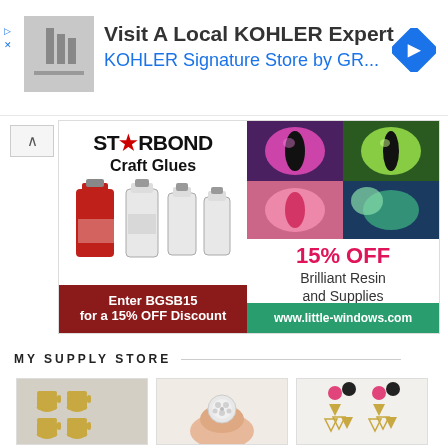[Figure (screenshot): Kohler advertisement banner with thumbnail image, navigation arrow icon, headline 'Visit A Local KOHLER Expert' and subtitle 'KOHLER Signature Store by GR...']
[Figure (screenshot): Starbond Craft Glues advertisement with product bottles image on left, and Little-Windows Brilliant Resin 15% OFF promotion on right with code BG1516]
MY SUPPLY STORE
[Figure (photo): Product photo: wooden tea cup charms]
[Figure (photo): Product photo: rhinestone button or embellishment on a finger]
[Figure (photo): Product photo: pink and black geometric triangle earrings]